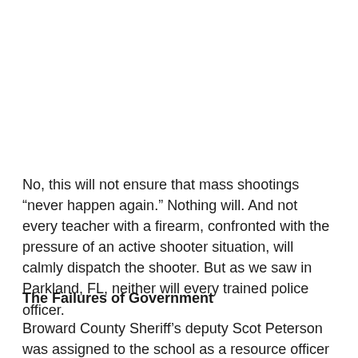No, this will not ensure that mass shootings “never happen again.” Nothing will. And not every teacher with a firearm, confronted with the pressure of an active shooter situation, will calmly dispatch the shooter. But as we saw in Parkland, FL, neither will every trained police officer.
The Failures of Government
Broward County Sheriff’s deputy Scot Peterson was assigned to the school as a resource officer and was on the school grounds during the entire incident. He heard the shooting